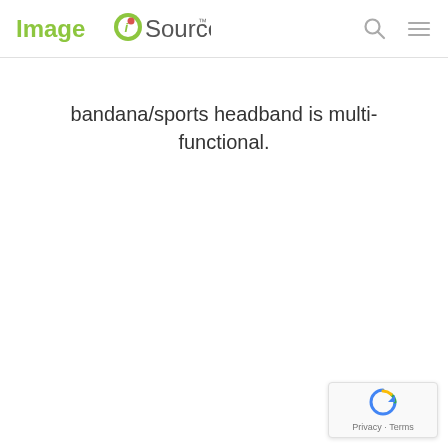Image Source
bandana/sports headband is multi-functional.
[Figure (logo): reCAPTCHA badge with recycle-arrow logo and Privacy · Terms text]